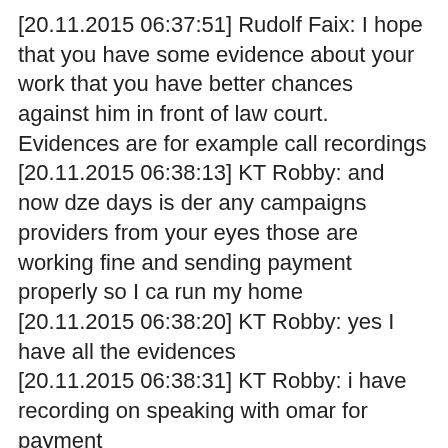[20.11.2015 06:37:51] Rudolf Faix: I hope that you have some evidence about your work that you have better chances against him in front of law court. Evidences are for example call recordings
[20.11.2015 06:38:13] KT Robby: and now dze days is der any campaigns providers from your eyes those are working fine and sending payment properly so I ca run my home
[20.11.2015 06:38:20] KT Robby: yes I have all the evidences
[20.11.2015 06:38:31] KT Robby: i have recording on speaking with omar for payment
[20.11.2015 06:38:49] Rudolf Faix: OK, that will help you,
[20.11.2015 06:39:24] KT Robby: so i need to complaint to ftc
[20.11.2015 06:39:25] Rudolf Faix: There is